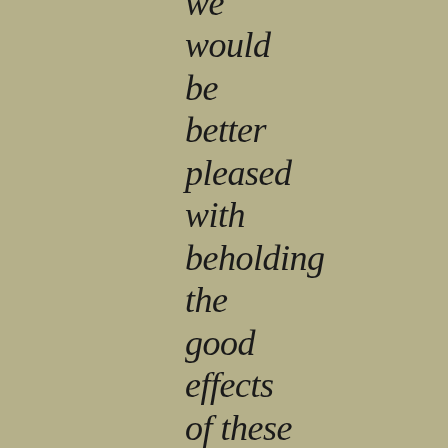we would be better pleased with beholding the good effects of these doctrines in your own practices, than with hearing you talk about